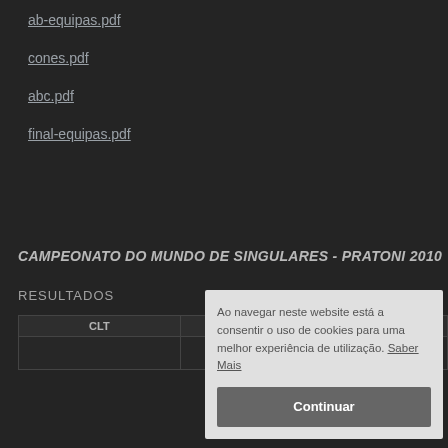ab-equipas.pdf
cones.pdf
abc.pdf
final-equipas.pdf
CAMPEONATO DO MUNDO DE SINGULARES - PRATONI 2010
RESULTADOS
| CLT | TEA | C | PH |
| --- | --- | --- | --- |
| *BO |  |  |  |
| Detlef |  |  |  |
Ao navegar neste website está a consentir o uso de cookies para uma melhor experiência de utilização. Saber Mais
Continuar